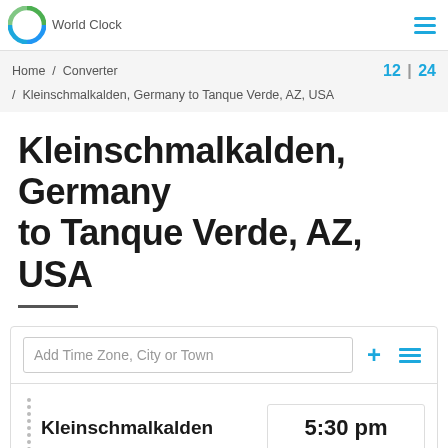World Clock
Home / Converter / Kleinschmalkalden, Germany to Tanque Verde, AZ, USA  12 | 24
Kleinschmalkalden, Germany to Tanque Verde, AZ, USA
| City | Time | Timezone | Date |
| --- | --- | --- | --- |
| Kleinschmalkalden | 5:30 pm | CEST | Sun, Aug 28 |